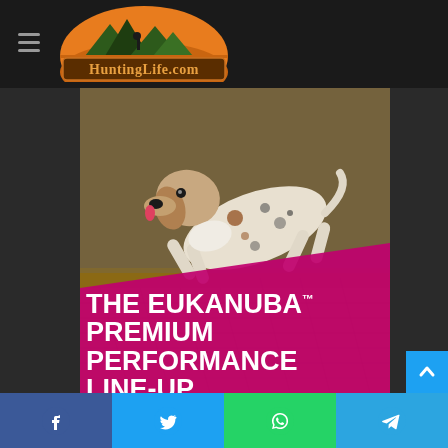HuntingLife.com
[Figure (photo): A pointer/hunting dog leaping over hay bales in a field, advertisement image for Eukanuba Premium Performance Line-Up]
THE EUKANUBA™ PREMIUM PERFORMANCE LINE-UP
Facebook | Twitter | WhatsApp | Telegram social sharing buttons